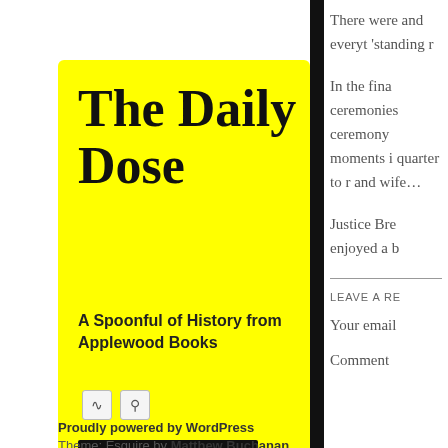[Figure (logo): Yellow speech bubble logo containing 'The Daily Dose' title, subtitle 'A Spoonful of History from Applewood Books', RSS and search icons, and a black bar]
The Daily Dose
A Spoonful of History from Applewood Books
Proudly powered by WordPress
Theme: Esquire by Matthew Buchanan.
There were and everyt 'standing r
In the fina ceremonies ceremony moments i quarter to r and wife...
Justice Bre enjoyed a b
LEAVE A RE
Your email
Comment